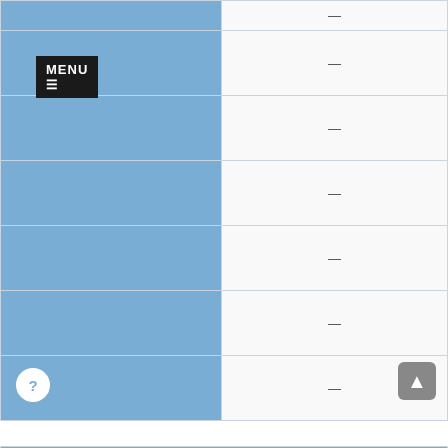| Category | Value |
| --- | --- |
|  | — |
|  | — |
|  | — |
|  | — |
|  | — |
|  | — |
|  | — |
| White |  |
|  | 48 |
|  | — |
|  | — |
|  | — |
[Figure (screenshot): MENU button overlay in top-left corner with hamburger icon]
[Figure (screenshot): Back to top button, gray rounded square with up arrow, bottom right]
[Figure (screenshot): Help/question mark circle button, bottom left]